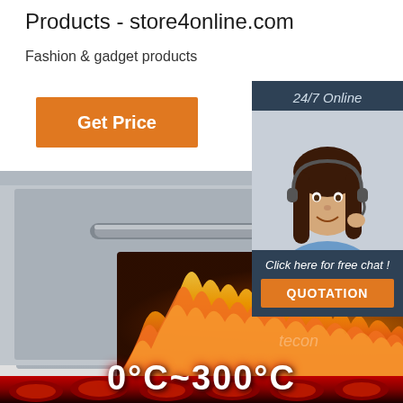Products - store4online.com
Fashion & gadget products
Get Price
[Figure (screenshot): 24/7 Online customer support chat panel with a woman wearing a headset, 'Click here for free chat!' text and an orange QUOTATION button]
[Figure (photo): Commercial industrial oven with stainless steel exterior and orange fire flames visible through the glass window, control panel on the right side, and 0°C~300°C text at the bottom]